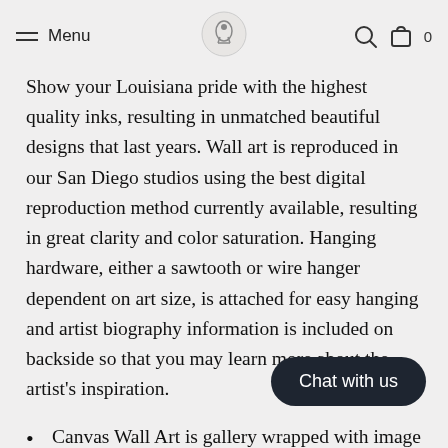Menu [logo] [search icon] [bag icon] 0
Show your Louisiana pride with the highest quality inks, resulting in unmatched beautiful designs that last years. Wall art is reproduced in our San Diego studios using the best digital reproduction method currently available, resulting in great clarity and color saturation. Hanging hardware, either a sawtooth or wire hanger dependent on art size, is attached for easy hanging and artist biography information is included on backside so that you may learn more about the artist's inspiration.
Canvas Wall Art is gallery wrapped with image wrapping to sides. Art Prints may be purchased framed and matted with transparent acrylic glass, or unframed shipping in a clear envelope.
Repositionable and reusable fabri... Printed using the Giclee method Printe...ard Gold Certified inks and are UL Environment Energy